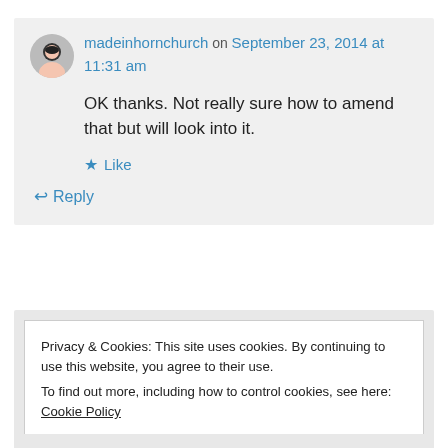madeinhornchurch on September 23, 2014 at 11:31 am
OK thanks. Not really sure how to amend that but will look into it.
Like
Reply
Privacy & Cookies: This site uses cookies. By continuing to use this website, you agree to their use.
To find out more, including how to control cookies, see here: Cookie Policy
Close and accept